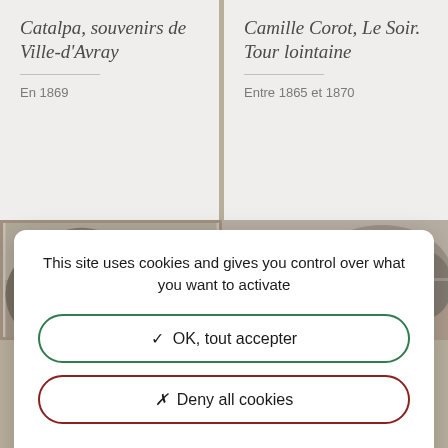[Figure (illustration): Two art museum card listings side by side on beige background. Left card: italic title 'Catalpa, souvenirs de Ville-d'Avray', date 'En 1869'. Right card: italic title 'Camille Corot, Le Soir. Tour lointaine', date 'Entre 1865 et 1870'.]
[Figure (photo): Two landscape paintings side by side — muted grey-brown tonalities showing trees and misty scenery, in the style of Corot.]
This site uses cookies and gives you control over what you want to activate
✓ OK, tout accepter
✗ Deny all cookies
> Personnaliser